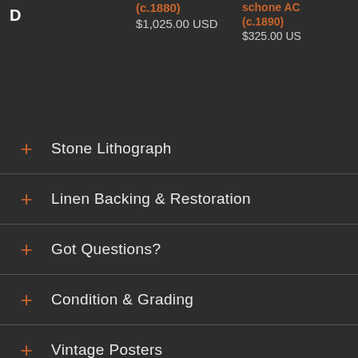D
(c.1880)
$1,025.00 USD
schone AC (c.1890)
$325.00 US
+ Stone Lithograph
+ Linen Backing & Restoration
+ Got Questions?
+ Condition & Grading
+ Vintage Posters
+ Shipping